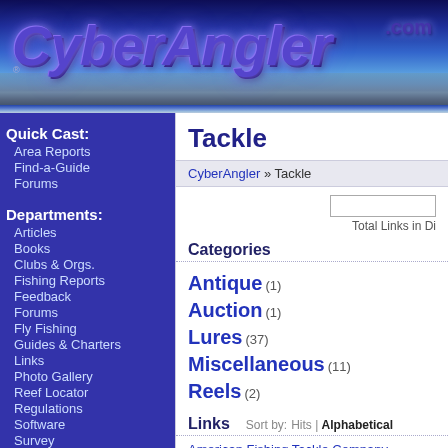[Figure (logo): CyberAngler.com logo banner with blue sky and water background]
Quick Cast:
Area Reports
Find-a-Guide
Forums
Departments:
Articles
Books
Clubs & Orgs.
Fishing Reports
Feedback
Forums
Fly Fishing
Guides & Charters
Links
Photo Gallery
Reef Locator
Regulations
Software
Survey
Tournaments
Travel
Tackle
CyberAngler » Tackle
Total Links in Di
Categories
Antique (1)
Auction (1)
Lures (37)
Miscellaneous (11)
Reels (2)
Links  Sort by: Hits | Alphabetical
American Fishing Tackle Company